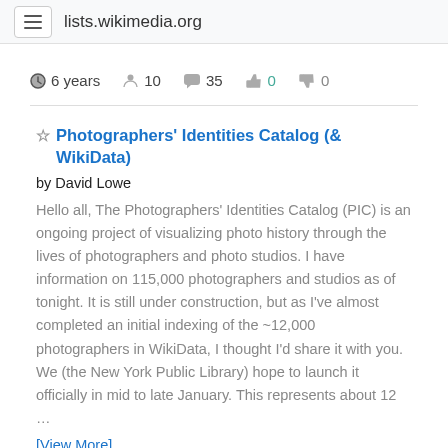lists.wikimedia.org
6 years  10  35  0  0
Photographers' Identities Catalog (& WikiData)
by David Lowe
Hello all, The Photographers' Identities Catalog (PIC) is an ongoing project of visualizing photo history through the lives of photographers and photo studios. I have information on 115,000 photographers and studios as of tonight. It is still under construction, but as I've almost completed an initial indexing of the ~12,000 photographers in WikiData, I thought I'd share it with you. We (the New York Public Library) hope to launch it officially in mid to late January. This represents about 12 …
[View More]